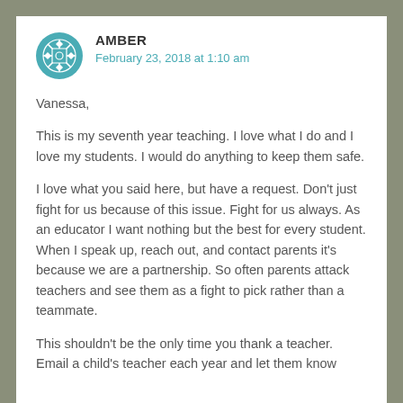AMBER
February 23, 2018 at 1:10 am
Vanessa,
This is my seventh year teaching. I love what I do and I love my students. I would do anything to keep them safe.

I love what you said here, but have a request. Don't just fight for us because of this issue. Fight for us always. As an educator I want nothing but the best for every student. When I speak up, reach out, and contact parents it's because we are a partnership. So often parents attack teachers and see them as a fight to pick rather than a teammate.

This shouldn't be the only time you thank a teacher. Email a child's teacher each year and let them know